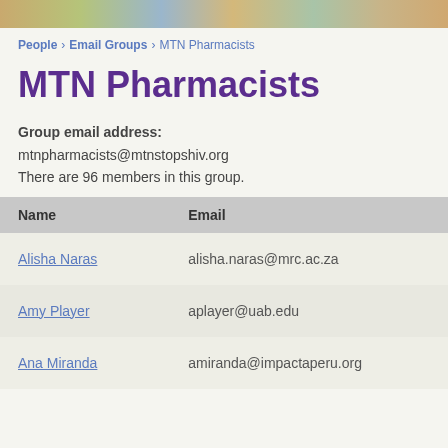[image strip header]
People › Email Groups › MTN Pharmacists
MTN Pharmacists
Group email address:
mtnpharmacists@mtnstopshiv.org
There are 96 members in this group.
| Name | Email |
| --- | --- |
| Alisha Naras | alisha.naras@mrc.ac.za |
| Amy Player | aplayer@uab.edu |
| Ana Miranda | amiranda@impactaperu.org |